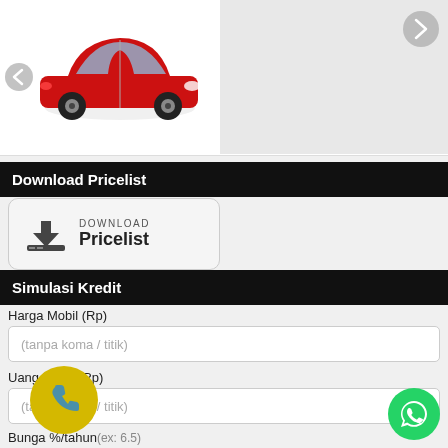[Figure (photo): Red car (small hatchback/city car) shown from side angle on white background with left navigation arrow; right panel is gray with a right navigation arrow]
Download Pricelist
[Figure (illustration): Download Pricelist button with download icon, text DOWNLOAD above bold Pricelist]
Simulasi Kredit
Harga Mobil (Rp)
(tanpa koma / titik)
Uang Muka (Rp)
(tanpa koma / titik)
Bunga %/tahun (ex: 6.5)